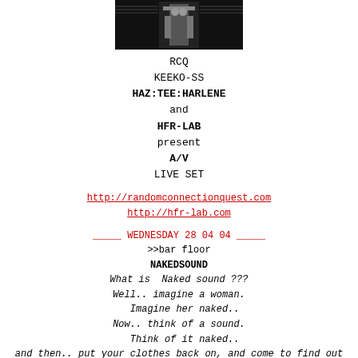[Figure (photo): Black and white photo of a figure at the top of the page]
RCQ
KEEKO-SS
HAZ:TEE:HARLENE
and
HFR-LAB
present
A/V
LIVE SET
http://randomconnectionquest.com
http://hfr-lab.com
_____ WEDNESDAY 28 04 04 _____
>>bar floor
NAKEDSOUND
What is  Naked sound ???
Well.. imagine a woman.
Imagine her naked..
Now.. think of a sound.
Think of it naked..
and then.. put your clothes back on, and come to find out
Naked visuals
VISUELLE http://www.isobel.biz
Naked music
DORP {electronika unplugged set}